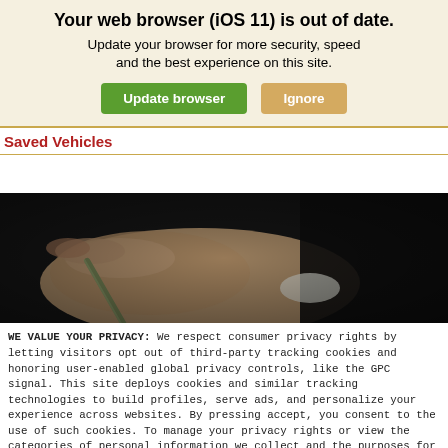Your web browser (iOS 11) is out of date. Update your browser for more security, speed and the best experience on this site.
Update browser | Ignore
Saved Vehicles
[Figure (photo): Close-up of a person's hand holding a pen, dark background, appears to be signing a document.]
WE VALUE YOUR PRIVACY: We respect consumer privacy rights by letting visitors opt out of third-party tracking cookies and honoring user-enabled global privacy controls, like the GPC signal. This site deploys cookies and similar tracking technologies to build profiles, serve ads, and personalize your experience across websites. By pressing accept, you consent to the use of such cookies. To manage your privacy rights or view the categories of personal information we collect and the purposes for which the information is used, click here.
Language: English ∨  Powered by ComplyAuto
Accept and Continue → | Privacy Policy | ×